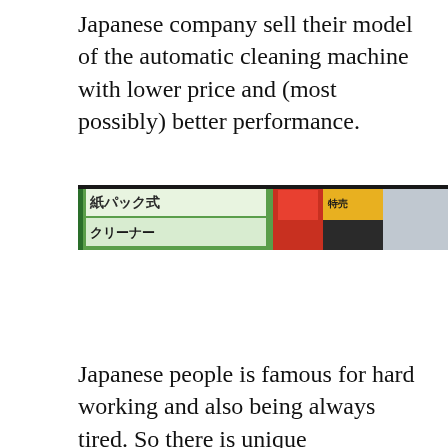Japanese company sell their model of the automatic cleaning machine with lower price and (most possibly) better performance.
[Figure (photo): A photo of a Japanese retail store interior showing signage with Japanese characters including 紙パック式 and クリーナー, with store ceiling lights visible in the background.]
Japanese people is famous for hard working and also being always tired. So there is unique